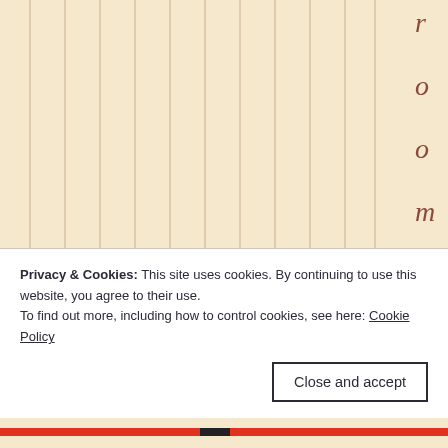[Figure (other): Cream/beige background with multiple thin vertical dark lines evenly spaced across the page, resembling ruled paper or a chart background. On the right side, rotated/vertical text spells out 'roomfortwen t' (room for twenty) letter by letter from top to bottom in brownish-red italic font.]
Privacy & Cookies: This site uses cookies. By continuing to use this website, you agree to their use.
To find out more, including how to control cookies, see here: Cookie Policy